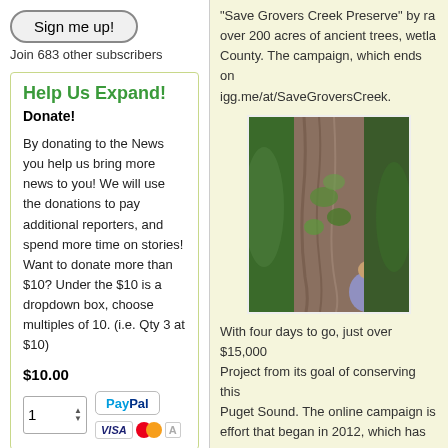Sign me up!
Join 683 other subscribers
Help Us Expand!
Donate!
By donating to the News you help us bring more news to you! We will use the donations to pay additional reporters, and spend more time on stories! Want to donate more than $10? Under the $10 is a dropdown box, choose multiples of 10. (i.e. Qty 3 at $10)
$10.00
[Figure (screenshot): Payment widget with quantity selector showing '1', PayPal button, VISA and Mastercard logos]
"Save Grovers Creek Preserve" by ra... over 200 acres of ancient trees, wetla... County. The campaign, which ends on... igg.me/at/SaveGroversCreek.
[Figure (photo): A child sitting at the base of a large ancient tree trunk in a forest, with green ivy growing on the bark]
With four days to go, just over $15,000... Project from its goal of conserving this... Puget Sound. The online campaign is... effort that began in 2012, which has m... come from various sources, including... partner organizations, and individual d... $200,000.